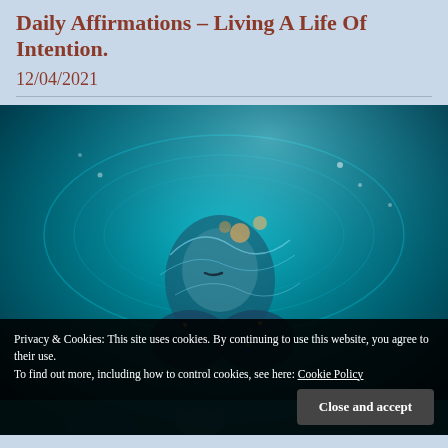Daily Affirmations – Living A Life Of Intention.
12/04/2021
[Figure (illustration): Digital artwork of a serene woman submerged or surrounded by swirling blue and teal water-like energy with glowing patterns and orbs, an ethereal fantasy composition in blues and teals with gold accents.]
Privacy & Cookies: This site uses cookies. By continuing to use this website, you agree to their use.
To find out more, including how to control cookies, see here: Cookie Policy
Close and accept